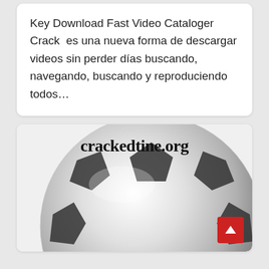Key Download Fast Video Cataloger Crack  es una nueva forma de descargar videos sin perder días buscando, navegando, buscando y reproduciendo todos…
[Figure (photo): Soccer ball (football) image in black and white/grayscale with a 'crackedtine.org' watermark text overlaid at the top of the ball. A red scroll-to-top button is visible in the bottom right corner.]